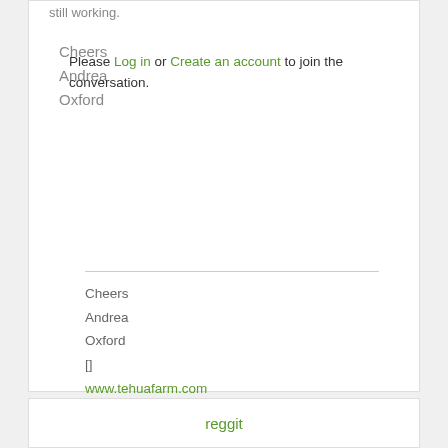still working.
Cheers
Andrea
Oxford
Cheers
Andrea
Oxford
[]
www.tehuafarm.com
www.canterbury.goat.org.nz/
Please Log in or Create an account to join the conversation.
reggit